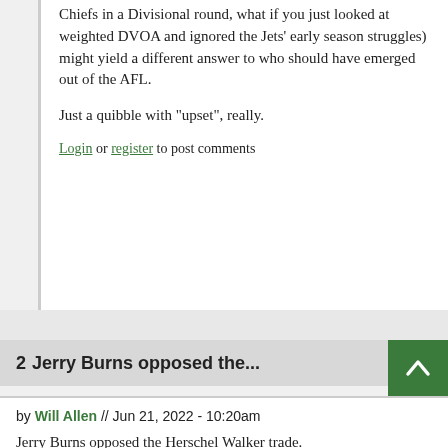Chiefs in a Divisional round, what if you just looked at weighted DVOA and ignored the Jets' early season struggles) might yield a different answer to who should have emerged out of the AFL.
Just a quibble with "upset", really.
Login or register to post comments
2  Jerry Burns opposed the...
by Will Allen // Jun 21, 2022 - 10:20am
Jerry Burns opposed the Herschel Walker trade. That was all on Mike Lynn, a parasite who